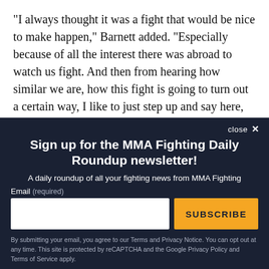"I always thought it was a fight that would be nice to make happen," Barnett added. "Especially because of all the interest there was abroad to watch us fight. And then from hearing how similar we are, how this fight is going to turn out a certain way, I like to just step up and say here, I'll show you how this will turn out."
Sign up for the MMA Fighting Daily Roundup newsletter!
A daily roundup of all your fighting news from MMA Fighting
By submitting your email, you agree to our Terms and Privacy Notice. You can opt out at any time. This site is protected by reCAPTCHA and the Google Privacy Policy and Terms of Service apply.